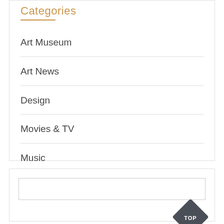Categories
Art Museum
Art News
Design
Movies & TV
Music
Theater
[Figure (other): Search input field box]
[Figure (other): TOP navigation diamond button in dark gray with white text]